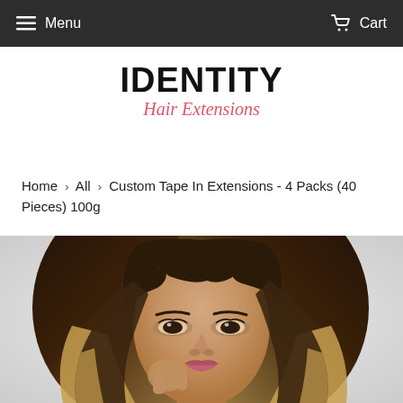Menu   Cart
IDENTITY Hair Extensions
Home > All > Custom Tape In Extensions - 4 Packs (40 Pieces) 100g
[Figure (photo): Portrait photo of a young woman with ombre hair (dark roots fading to blonde ends), wearing makeup, facing forward with hand near chin]